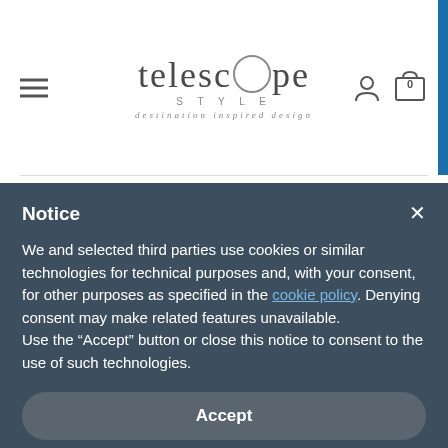[Figure (logo): Telescope Style logo with circular O design and tagline 'destination inspired design']
Notice
We and selected third parties use cookies or similar technologies for technical purposes and, with your consent, for other purposes as specified in the cookie policy. Denying consent may make related features unavailable.
Use the “Accept” button or close this notice to consent to the use of such technologies.